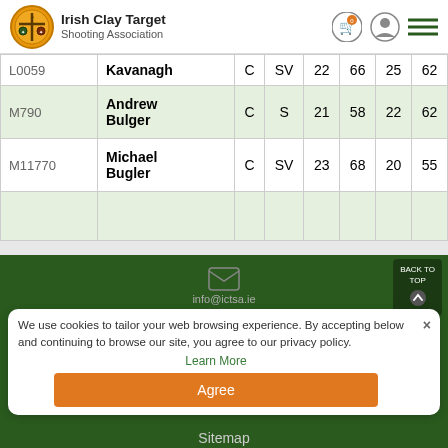Irish Clay Target Shooting Association
| ID | Name | C | SV | Col5 | Col6 | Col7 | Col8 |
| --- | --- | --- | --- | --- | --- | --- | --- |
| L0059 | Kavanagh | C | SV | 22 | 66 | 25 | 62 |
| M790 | Andrew Bulger | C | S | 21 | 58 | 22 | 62 |
| M11770 | Michael Bugler | C | SV | 23 | 68 | 20 | 55 |
|  |  |  |  |  |  |  |  |
We use cookies to tailor your web browsing experience. By accepting below and continuing to browse our site, you agree to our privacy policy.
Learn More
Agree
Sitemap